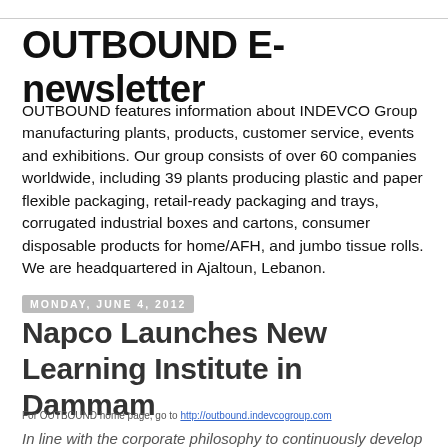OUTBOUND E-newsletter
OUTBOUND features information about INDEVCO Group manufacturing plants, products, customer service, events and exhibitions. Our group consists of over 60 companies worldwide, including 39 plants producing plastic and paper flexible packaging, retail-ready packaging and trays, corrugated industrial boxes and cartons, consumer disposable products for home/AFH, and jumbo tissue rolls. We are headquartered in Ajaltoun, Lebanon.
Monday, June 4, 2012
Napco Launches New Learning Institute in Dammam
For OUTBOUND home page, go to http://outbound.indevcogroup.com
In line with the corporate philosophy to continuously develop